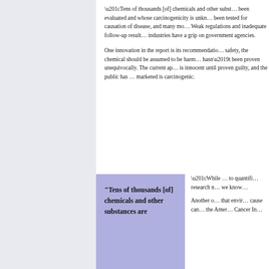“Tens of thousands [of] chemicals and other substances are in common use have not been evaluated and whose carcinogenicity is unknown. Many of these have never been tested for causation of disease, and many more are in inadequate testing. Weak regulations and inadequate follow-up result in part because powerful industries have a grip on government agencies.
One innovation in the report is its recommendation that, absent evidence of safety, the chemical should be assumed to be harmful even if its harmfulness hasn’t been proven unequivocally. The current approach is that a chemical is innocent until proven guilty, and the public has to prove that everything marketed is carcinogenic.
“While … to quantify… research m… we know…
Another … that envir… cause car… the Amer… Cancer In…
"Tens of thousands [of] chemicals and other substances are